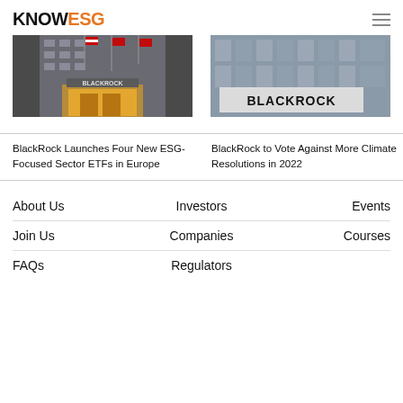KNOWESG
[Figure (photo): BlackRock building exterior with flags and golden lit entrance]
BlackRock Launches Four New ESG-Focused Sector ETFs in Europe
[Figure (photo): BlackRock sign on building exterior, angled upward view]
BlackRock to Vote Against More Climate Resolutions in 2022
About Us
Investors
Events
Join Us
Companies
Courses
FAQs
Regulators